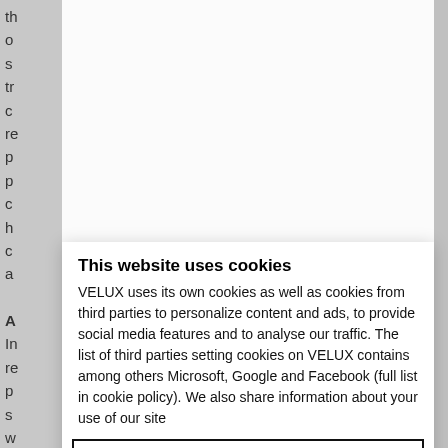th o s tr c re p p c h c a
A In re p s w
This website uses cookies
VELUX uses its own cookies as well as cookies from third parties to personalize content and ads, to provide social media features and to analyse our traffic. The list of third parties setting cookies on VELUX contains among others Microsoft, Google and Facebook (full list in cookie policy). We also share information about your use of our site
Use necessary cookies only
Allow all cookies